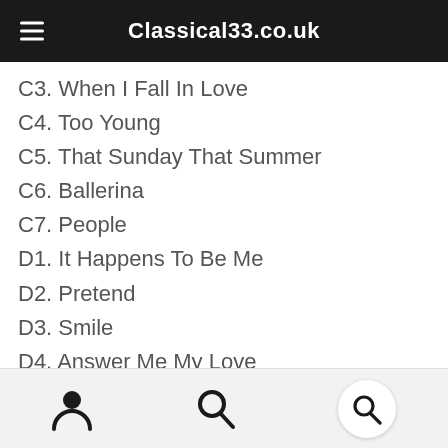Classical33.co.uk
C3. When I Fall In Love
C4. Too Young
C5. That Sunday That Summer
C6. Ballerina
C7. People
D1. It Happens To Be Me
D2. Pretend
D3. Smile
D4. Answer Me My Love
D5. L-O-V-E
D6. Ramblin’ Rose
Media Type: Vinyl